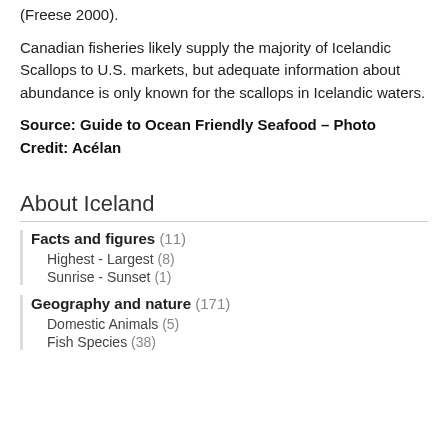(Freese 2000).
Canadian fisheries likely supply the majority of Icelandic Scallops to U.S. markets, but adequate information about abundance is only known for the scallops in Icelandic waters.
Source: Guide to Ocean Friendly Seafood – Photo Credit: Acélan
About Iceland
Facts and figures (11)
Highest - Largest (8)
Sunrise - Sunset (1)
Geography and nature (171)
Domestic Animals (5)
Fish Species (38)